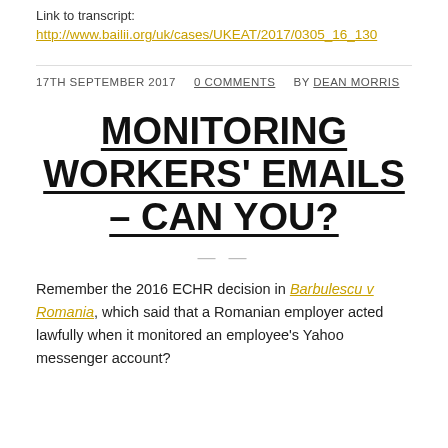Link to transcript:
http://www.bailii.org/uk/cases/UKEAT/2017/0305_16_130
17TH SEPTEMBER 2017   0 COMMENTS   BY DEAN MORRIS
MONITORING WORKERS' EMAILS – CAN YOU?
Remember the 2016 ECHR decision in Barbulescu v Romania, which said that a Romanian employer acted lawfully when it monitored an employee's Yahoo messenger account?